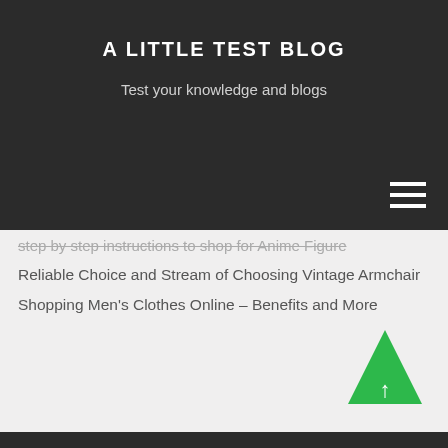A LITTLE TEST BLOG
Test your knowledge and blogs
step by step instructions to shop for Anime Figure
Reliable Choice and Stream of Choosing Vintage Armchair
Shopping Men's Clothes Online – Benefits and More